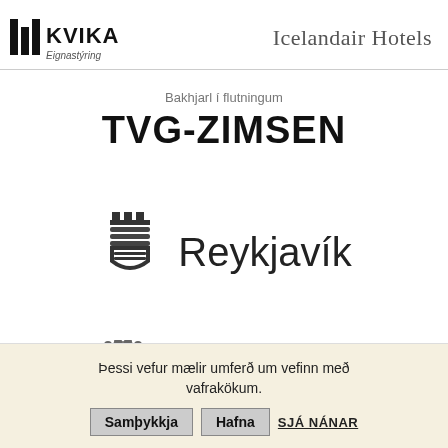[Figure (logo): Kvika Eignastýring logo with stylized bar icon and text]
[Figure (logo): Icelandair Hotels logo in serif text]
Bakhjarl í flutningum
TVG-ZIMSEN
[Figure (logo): Reykjavík city logo with coat of arms shield icon and Reykjavík text]
[Figure (logo): Stjórnarráð Íslands - Menningar- og viðskiptaráðuneytiðlogo with coat of arms]
Þessi vefur mælir umferð um vefinn með vafrakökum.
Samþykkja   Hafna   SJÁ NÁNAR